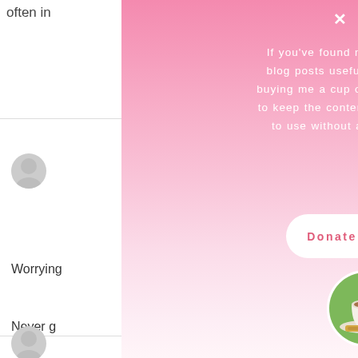often in
t 6:35 pm
Worrying
t 5:41 pm
Never g
t 4:52 pm
[Figure (screenshot): Pink gradient modal popup with white text saying 'If you've found my DIY projects or blog posts useful, please consider buying me a cup of tea. This will help to keep the content free for everyone to use without any irritating ads!' with a white 'Donate a cuppa' button, a circular tea cup photo, italic text 'Following & sharing helps too!', and a cookie consent banner at the bottom with 'Please agree to the use of cookies to continue using this website. More info' and an Accept button. There is also a close X button in the top right.]